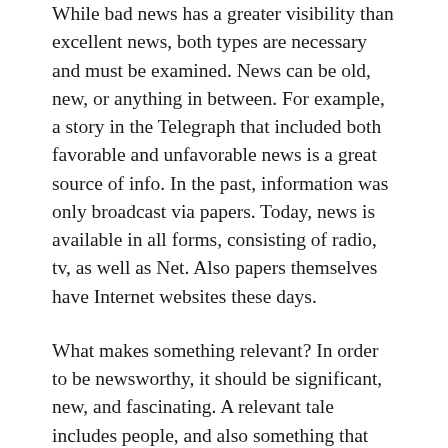While bad news has a greater visibility than excellent news, both types are necessary and must be examined. News can be old, new, or anything in between. For example, a story in the Telegraph that included both favorable and unfavorable news is a great source of info. In the past, information was only broadcast via papers. Today, news is available in all forms, consisting of radio, tv, as well as Net. Also papers themselves have Internet websites these days.
What makes something relevant? In order to be newsworthy, it should be significant, new, and fascinating. A relevant tale includes people, and also something that impacts the lives of the readers is newsworthy. Nevertheless, not all relevant occasions are newsworthy. Even if a story involves an individual, it must have an unusual or essential element. For instance, a ninety-year-old male who